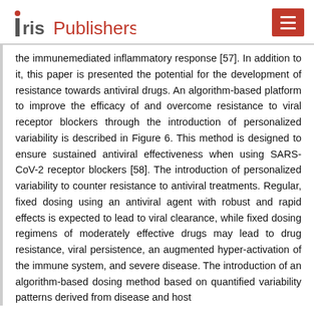Iris Publishers
the immunemediated inflammatory response [57]. In addition to it, this paper is presented the potential for the development of resistance towards antiviral drugs. An algorithm-based platform to improve the efficacy of and overcome resistance to viral receptor blockers through the introduction of personalized variability is described in Figure 6. This method is designed to ensure sustained antiviral effectiveness when using SARS-CoV-2 receptor blockers [58]. The introduction of personalized variability to counter resistance to antiviral treatments. Regular, fixed dosing using an antiviral agent with robust and rapid effects is expected to lead to viral clearance, while fixed dosing regimens of moderately effective drugs may lead to drug resistance, viral persistence, an augmented hyper-activation of the immune system, and severe disease. The introduction of an algorithm-based dosing method based on quantified variability patterns derived from disease and host